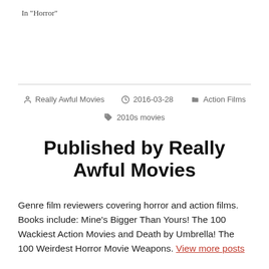In "Horror"
Really Awful Movies  2016-03-28  Action Films  2010s movies
Published by Really Awful Movies
Genre film reviewers covering horror and action films. Books include: Mine's Bigger Than Yours! The 100 Wackiest Action Movies and Death by Umbrella! The 100 Weirdest Horror Movie Weapons. View more posts